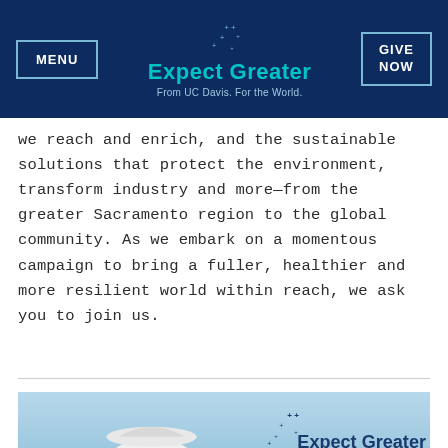MENU | Expect Greater From UC Davis. For the World. | GIVE NOW
we reach and enrich, and the sustainable solutions that protect the environment, transform industry and more—from the greater Sacramento region to the global community. As we embark on a momentous campaign to bring a fuller, healthier and more resilient world within reach, we ask you to join us.
[Figure (photo): Aerial photo of UC Davis campus featuring the UC Davis water tower with 'UCDAVIS' text, overlay of 'Expect Greater From UC Davis. For the World.' logo with decorative plus/star pattern, and a play button icon over the campus cityscape]